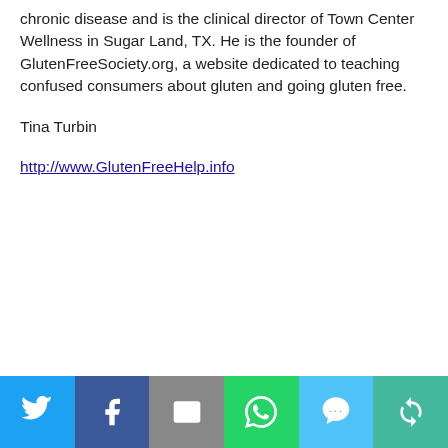chronic disease and is the clinical director of Town Center Wellness in Sugar Land, TX.  He is the founder of GlutenFreeSociety.org, a website dedicated to teaching confused consumers about gluten and going gluten free.
Tina Turbin
http://www.GlutenFreeHelp.info
[Figure (infographic): Social media share bar with six buttons: Twitter (blue bird icon), Facebook (dark blue f icon), Email (grey envelope icon), WhatsApp (green phone icon), SMS (light blue SMS bubble icon), More (teal circular arrows icon)]